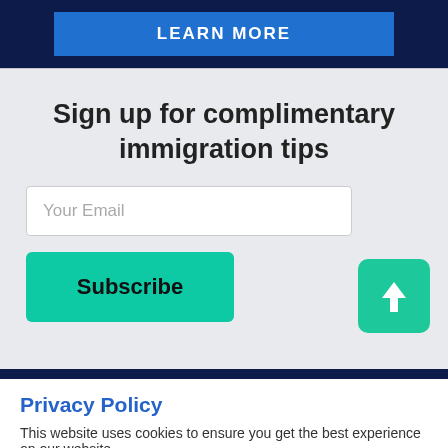[Figure (screenshot): Top banner with dark navy background and a blue 'LEARN MORE' button]
Sign up for complimentary immigration tips
[Figure (screenshot): Email input field with placeholder 'Your Email']
[Figure (screenshot): Teal Subscribe button]
[Figure (screenshot): Green scroll-to-top arrow button]
Privacy Policy
This website uses cookies to ensure you get the best experience on our website.
[Figure (screenshot): Yellow 'Got it!' cookie consent button]